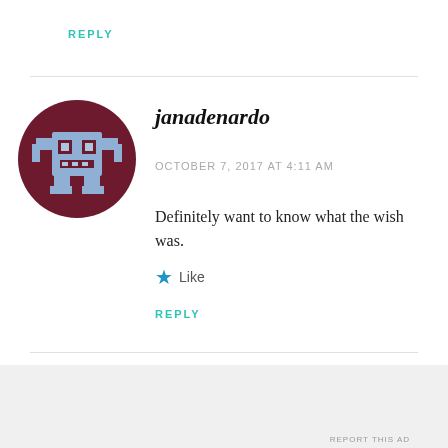REPLY
[Figure (illustration): User avatar: dark red circle with a pixel-art robot/character icon in blue-gray]
janadenardo
OCTOBER 7, 2017 AT 4:11 AM
Definitely want to know what the wish was.
★ Like
REPLY
Advertisements
[Figure (screenshot): Jetpack advertisement banner: green background with Jetpack logo on left and 'Back up your site' white button on right]